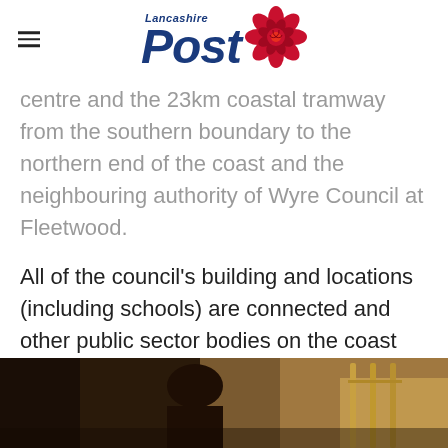Lancashire Post
centre and the 23km coastal tramway from the southern boundary to the northern end of the coast and the neighbouring authority of Wyre Council at Fleetwood.
All of the council's building and locations (including schools) are connected and other public sector bodies on the coast including Wyre Council can now connect more of their public building and assets.
[Figure (photo): Outdoor photo showing a person and wooden posts, dimly lit scene]